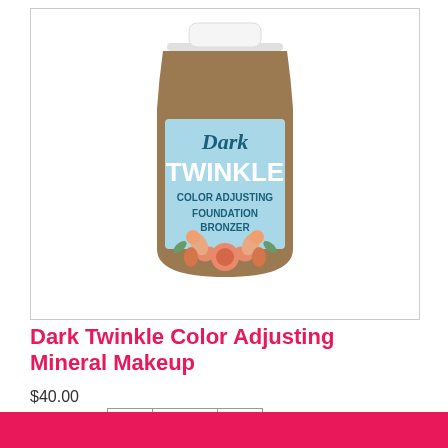[Figure (photo): A bottle of Dark Twinkle Color Adjusting Foundation Bronzer with a light blue label featuring floral decoration. The bottle has a white cap and brown liquid inside.]
Dark Twinkle Color Adjusting Mineral Makeup
$40.00
Quantity - 1 +